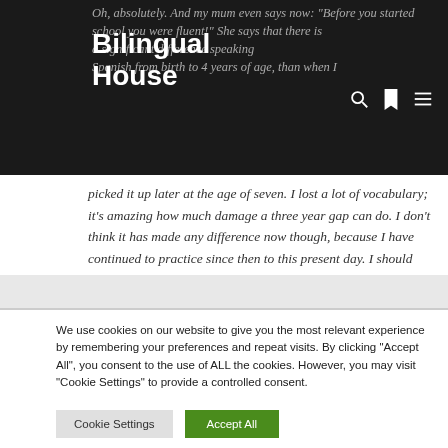Bilingual House
Oh, absolutely. And my mum even says now: "Before you started school you were fluent!" She says that there is a significant difference speaking Spanish from birth to 4 years of age, than when I picked it up later at the age of seven. I lost a lot of vocabulary; it's amazing how much damage a three year gap can do. I don't think it has made any difference now though, because I have continued to practice since then to this present day. I should speak more at home with my children, but they have two
We use cookies on our website to give you the most relevant experience by remembering your preferences and repeat visits. By clicking "Accept All", you consent to the use of ALL the cookies. However, you may visit "Cookie Settings" to provide a controlled consent.